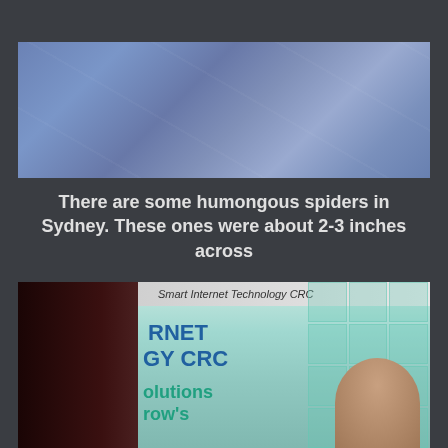[Figure (photo): Photo of a blurry blue surface, possibly a spider web or glass surface with faint reflections and scratches, taken in Sydney]
There are some humongous spiders in Sydney. These ones were about 2-3 inches across
[Figure (photo): Photo of a presentation screen showing Smart Internet Technology CRC branding with text including RNET, GY CRC, olutions, row's. A person is partially visible in the lower right of the frame.]